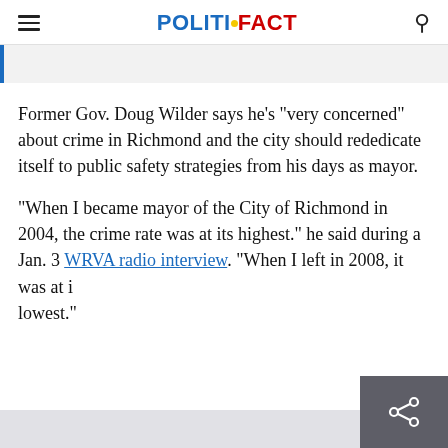POLITIFACT
Former Gov. Doug Wilder says he's "very concerned" about crime in Richmond and the city should rededicate itself to public safety strategies from his days as mayor.
"When I became mayor of the City of Richmond in 2004, the crime rate was at its highest." he said during a Jan. 3 WRVA radio interview. "When I left in 2008, it was at its lowest."